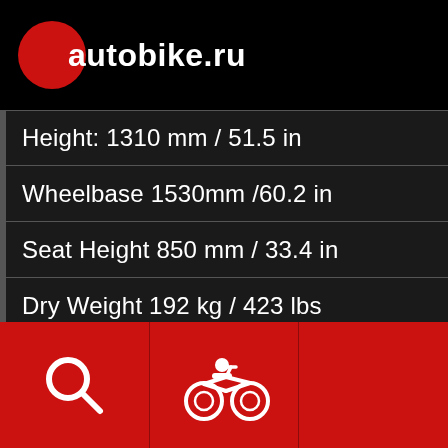autobike.ru
| Height: 1310 mm / 51.5 in |
| Wheelbase 1530mm /60.2 in |
| Seat Height 850 mm / 33.4 in |
| Dry Weight 192 kg / 423 lbs |
| Wet Weight 220 kg / 485 lbs |
[Figure (illustration): Red footer navigation bar with search icon (magnifying glass), motorcycle icon, and a third cell on a red background]